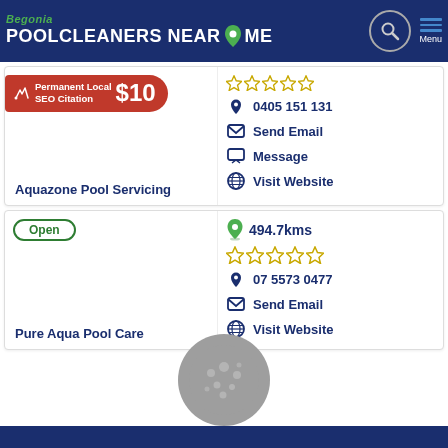Begonia POOLCLEANERS NEAR ME
[Figure (infographic): Ad banner: Permanent Local SEO Citation $10]
[Figure (other): Five empty star rating icons]
0405 151 131
Send Email
Message
Visit Website
Aquazone Pool Servicing
Open
494.7kms
[Figure (other): Five empty star rating icons for second listing]
07 5573 0477
Send Email
Visit Website
Pure Aqua Pool Care